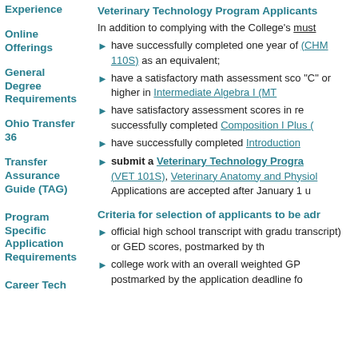Experience
Online Offerings
General Degree Requirements
Ohio Transfer 36
Transfer Assurance Guide (TAG)
Program Specific Application Requirements
Career Tech
Veterinary Technology Program Applicants
In addition to complying with the College's must
have successfully completed one year of (CHM 110S) as an equivalent;
have a satisfactory math assessment sco "C" or higher in Intermediate Algebra I (MT
have satisfactory assessment scores in re successfully completed Composition I Plus (
have successfully completed Introduction
submit a Veterinary Technology Progra (VET 101S), Veterinary Anatomy and Physiol Applications are accepted after January 1 u
Criteria for selection of applicants to be adr
official high school transcript with gradu transcript) or GED scores, postmarked by th
college work with an overall weighted GP postmarked by the application deadline fo